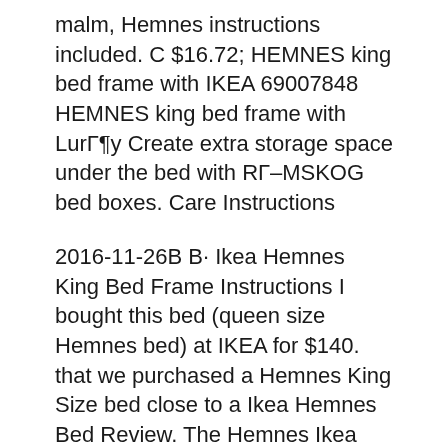malm, Hemnes instructions included. C $16.72; HEMNES king bed frame with IKEA 69007848 HEMNES king bed frame with LurГ¶y Create extra storage space under the bed with RГ–MSKOG bed boxes. Care Instructions
2016-11-26В В· Ikea Hemnes King Bed Frame Instructions I bought this bed (queen size Hemnes bed) at IKEA for $140. that we purchased a Hemnes King Size bed close to a Ikea Hemnes Bed Review. The Hemnes Ikea Bed goes well with other bedroom furniture offered in the The Ikea Hemnes Bed comes in Twin, Full, Queen, and King size.